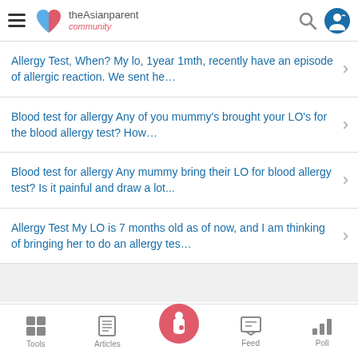theAsianparent community
Allergy Test, When? My lo, 1year 1mth, recently have an episode of allergic reaction. We sent he…
Blood test for allergy Any of you mummy's brought your LO's for the blood allergy test? How…
Blood test for allergy Any mummy bring their LO for blood allergy test? Is it painful and draw a lot...
Allergy Test My LO is 7 months old as of now, and I am thinking of bringing her to do an allergy tes…
Tools   Articles   Feed   Poll